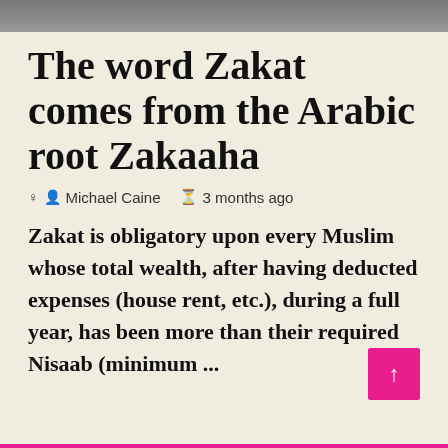[Figure (photo): Partial image strip at the top of the page, showing a cropped photograph]
The word Zakat comes from the Arabic root Zakaaha
Michael Caine  ⊙ 3 months ago
Zakat is obligatory upon every Muslim whose total wealth, after having deducted expenses (house rent, etc.), during a full year, has been more than their required Nisaab (minimum ...